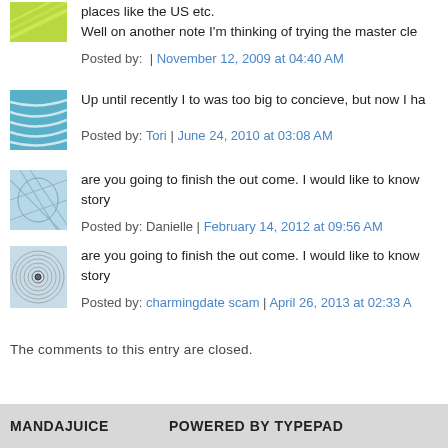places like the US etc.
Well on another note I'm thinking of trying the master cle...
Posted by: | November 12, 2009 at 04:40 AM
Up until recently I to was too big to concieve, but now I ha...
Posted by: Tori | June 24, 2010 at 03:08 AM
are you going to finish the out come. I would like to know... story
Posted by: Danielle | February 14, 2012 at 09:56 AM
are you going to finish the out come. I would like to know... story
Posted by: charmingdate scam | April 26, 2013 at 02:33 AM
The comments to this entry are closed.
MANDAJUICE    POWERED BY TYPEPAD